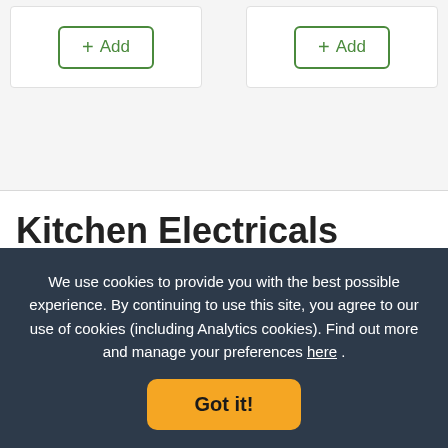[Figure (screenshot): Two white cards each with a green outlined '+ Add' button]
Kitchen Electricals
Our motto is you can never have enough kitchen tools...
We use cookies to provide you with the best possible experience. By continuing to use this site, you agree to our use of cookies (including Analytics cookies). Find out more and manage your preferences here .
Got it!